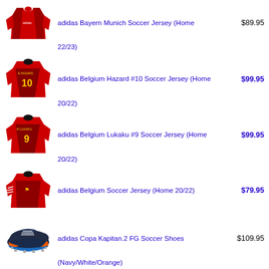[Figure (illustration): adidas Bayern Munich Soccer Jersey (Home 22/23) - red striped jersey product image]
adidas Bayern Munich Soccer Jersey (Home 22/23)
$89.95
[Figure (illustration): adidas Belgium Hazard #10 Soccer Jersey (Home 20/22) - red jersey with number 10]
adidas Belgium Hazard #10 Soccer Jersey (Home 20/22)
$99.95
[Figure (illustration): adidas Belgium Lukaku #9 Soccer Jersey (Home 20/22) - red jersey with number 9]
adidas Belgium Lukaku #9 Soccer Jersey (Home 20/22)
$99.95
[Figure (illustration): adidas Belgium Soccer Jersey (Home 20/22) - plain red jersey]
adidas Belgium Soccer Jersey (Home 20/22)
$79.95
[Figure (illustration): adidas Copa Kapitan.2 FG Soccer Shoes - navy/white/orange cleats]
adidas Copa Kapitan.2 FG Soccer Shoes
$109.95
(Navy/White/Orange)